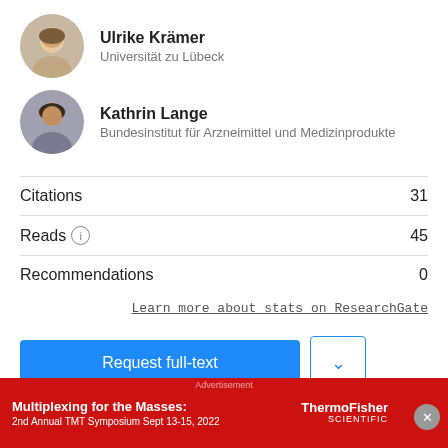Ulrike Krämer
Universität zu Lübeck
Kathrin Lange
Bundesinstitut für Arzneimittel und Medizinprodukte
| Metric | Value |
| --- | --- |
| Citations | 31 |
| Reads | 45 |
| Recommendations | 0 |
Learn more about stats on ResearchGate
Request full-text
If you want to read the PDF, try requesting it from the authors.
[Figure (other): Advertisement banner for ThermoFisher Scientific - Multiplexing for the Masses: 2nd Annual TMT Symposium Sept 13-15, 2022]